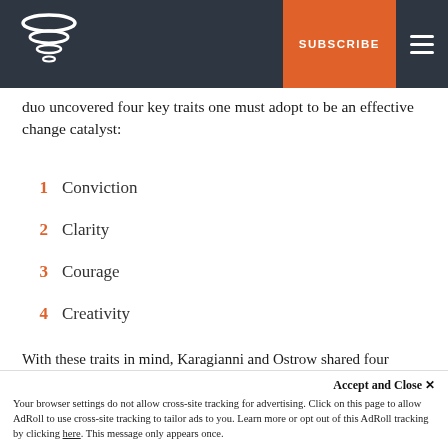SUBSCRIBE
duo uncovered four key traits one must adopt to be an effective change catalyst:
1  Conviction
2  Clarity
3  Courage
4  Creativity
With these traits in mind, Karagianni and Ostrow shared four hacks to bring practitioners closer to becoming a change catalyst.
Accept and Close ×
Your browser settings do not allow cross-site tracking for advertising. Click on this page to allow AdRoll to use cross-site tracking to tailor ads to you. Learn more or opt out of this AdRoll tracking by clicking here. This message only appears once.